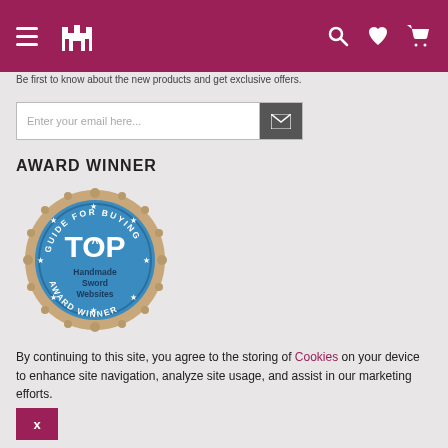Navigation header with hamburger menu, logo, search, wishlist, and cart icons
Be first to know about the new products and get exclusive offers.
[Figure (other): Email subscription input box with placeholder 'Enter your email here...' and envelope send button]
AWARD WINNER
[Figure (illustration): Round badge award seal: 'GUIDE FOR BUYING TOP Handmade Sword Websites AWARD WINNER' in blue and gold]
By continuing to this site, you agree to the storing of Cookies on your device to enhance site navigation, analyze site usage, and assist in our marketing efforts.
[Figure (other): Cookie consent dismiss button labeled X in dark pink/maroon]